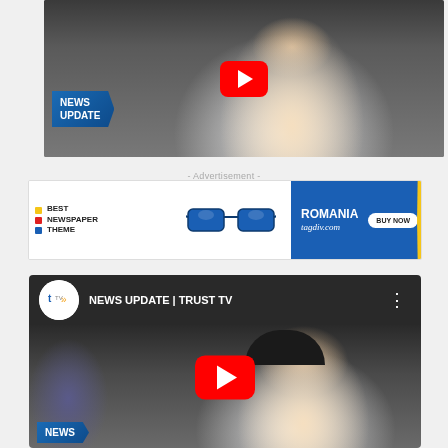[Figure (screenshot): YouTube video thumbnail showing a man in white shirt at a microphone with 'NEWS UPDATE' badge overlay and red YouTube play button]
- Advertisement -
[Figure (photo): Advertisement banner for Romania tagdiv.com theme - Best Newspaper Theme with sunglasses image and Buy Now button]
[Figure (screenshot): YouTube video embed showing NEWS UPDATE | TRUST TV with Trust TV logo in header, man in white shirt and black hat, red play button, and NEWS badge at bottom]